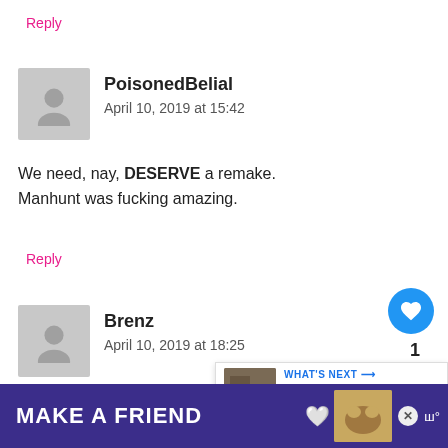Reply
[Figure (illustration): Gray avatar placeholder icon for user PoisonedBelial]
PoisonedBelial
April 10, 2019 at 15:42
We need, nay, DESERVE a remake.
Manhunt was fucking amazing.
Reply
[Figure (illustration): Gray avatar placeholder icon for user Brenz]
Brenz
April 10, 2019 at 18:25
I loved this game so much, was so over the top, shocking, but in a good way.
There will never be a remake or anything of the sorts, the world has gone too soft, special snowflakes speak too loudly, the woke movement has crea
[Figure (screenshot): MAKE A FRIEND advertisement banner at bottom of page]